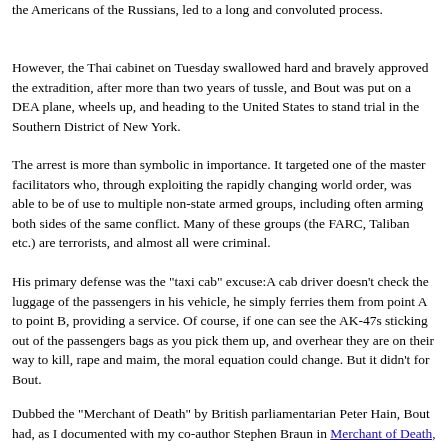the Americans of the Russians, led to a long and convoluted process.
However, the Thai cabinet on Tuesday swallowed hard and bravely approved the extradition, after more than two years of tussle, and Bout was put on a DEA plane, wheels up, and heading to the United States to stand trial in the Southern District of New York.
The arrest is more than symbolic in importance. It targeted one of the master facilitators who, through exploiting the rapidly changing world order, was able to be of use to multiple non-state armed groups, including often arming both sides of the same conflict. Many of these groups (the FARC, Taliban etc.) are terrorists, and almost all were criminal.
His primary defense was the "taxi cab" excuse:A cab driver doesn't check the luggage of the passengers in his vehicle, he simply ferries them from point A to point B, providing a service. Of course, if one can see the AK-47s sticking out of the passengers bags as you pick them up, and overhear they are on their way to kill, rape and maim, the moral equation could change. But it didn't for Bout.
Dubbed the "Merchant of Death" by British parliamentarian Peter Hain, Bout had, as I documented with my co-author Stephen Braun in Merchant of Death, Marco, Guns, Planes and the Man Who...